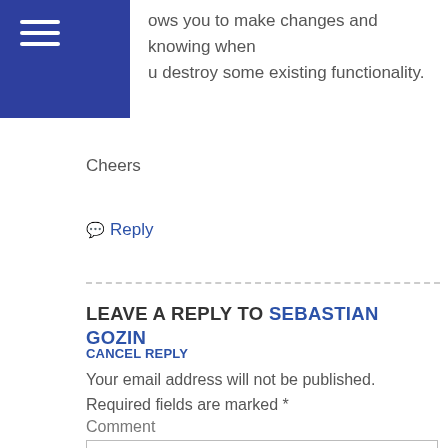ows you to make changes and knowing when u destroy some existing functionality.
Cheers
Reply
LEAVE A REPLY TO SEBASTIAN GOZIN
CANCEL REPLY
Your email address will not be published. Required fields are marked *
Comment